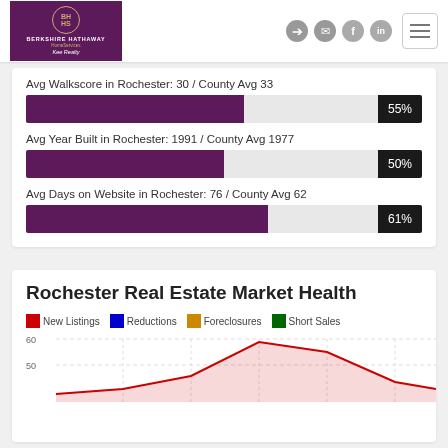[Figure (logo): Berkshire Hathaway HomeServices Kee Realty logo]
Avg Walkscore in Rochester: 30 / County Avg 33
[Figure (bar-chart): Avg Walkscore]
Avg Year Built in Rochester: 1991 / County Avg 1977
[Figure (bar-chart): Avg Year Built]
Avg Days on Website in Rochester: 76 / County Avg 62
[Figure (bar-chart): Avg Days on Website]
Rochester Real Estate Market Health
[Figure (line-chart): Line chart showing New Listings, Reductions, Foreclosures, Short Sales over time. Y-axis shows values 50 and 60 visible. A red line peaks around 60.]